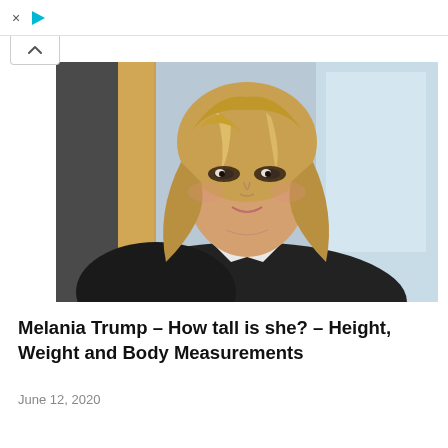× ▷
[Figure (photo): Portrait photo of Melania Trump smiling, wearing a dark blazer and white shirt, with long blonde highlighted hair, taken indoors in what appears to be a formal setting with blurred background.]
Melania Trump – How tall is she? – Height, Weight and Body Measurements
June 12, 2020